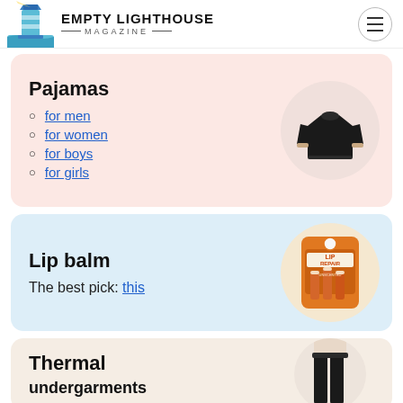EMPTY LIGHTHOUSE MAGAZINE
Pajamas
for men
for women
for boys
for girls
Lip balm
The best pick: this
Thermal undergarments